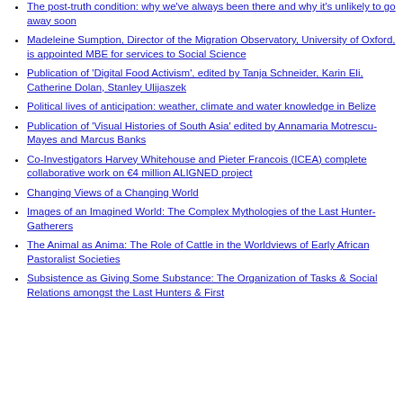The post-truth condition: why we've always been there and why it's unlikely to go away soon
Madeleine Sumption, Director of the Migration Observatory, University of Oxford, is appointed MBE for services to Social Science
Publication of 'Digital Food Activism', edited by Tanja Schneider, Karin Eli, Catherine Dolan, Stanley Ulijaszek
Political lives of anticipation: weather, climate and water knowledge in Belize
Publication of 'Visual Histories of South Asia' edited by Annamaria Motrescu-Mayes and Marcus Banks
Co-Investigators Harvey Whitehouse and Pieter Francois (ICEA) complete collaborative work on €4 million ALIGNED project
Changing Views of a Changing World
Images of an Imagined World: The Complex Mythologies of the Last Hunter-Gatherers
The Animal as Anima: The Role of Cattle in the Worldviews of Early African Pastoralist Societies
Subsistence as Giving Some Substance: The Organization of Tasks & Social Relations amongst the Last Hunters & First